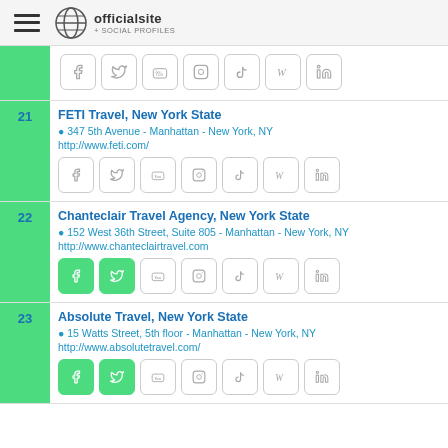officialsite + SOCIAL PROFILES
Social icons row (partial listing above #21)
21 FETI Travel, New York State | 347 5th Avenue - Manhattan - New York, NY | http://www.feti.com/
22 Chanteclair Travel Agency, New York State | 152 West 36th Street, Suite 805 - Manhattan - New York, NY | http://www.chanteclairtravel.com
23 Absolute Travel, New York State | 15 Watts Street, 5th floor - Manhattan - New York, NY | http://www.absolutetravel.com/